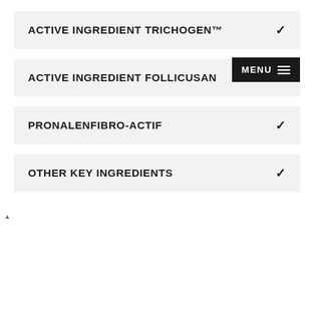ACTIVE INGREDIENT TRICHOGEN™
ACTIVE INGREDIENT FOLLICUSAN
PRONALENFIBRO-ACTIF
OTHER KEY INGREDIENTS